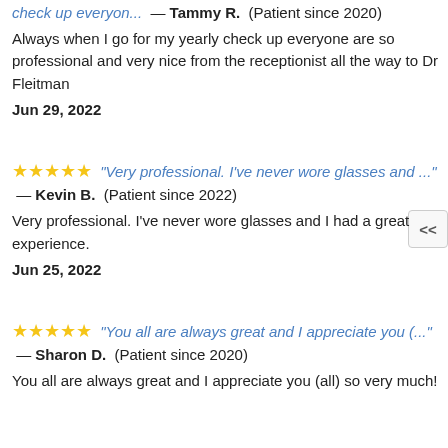check up everyon... — Tammy R. (Patient since 2020)
Always when I go for my yearly check up everyone are so professional and very nice from the receptionist all the way to Dr Fleitman
Jun 29, 2022
"Very professional. I've never wore glasses and ..." — Kevin B. (Patient since 2022)
Very professional. I've never wore glasses and I had a great experience.
Jun 25, 2022
"You all are always great and I appreciate you (... " — Sharon D. (Patient since 2020)
You all are always great and I appreciate you (all) so very much!